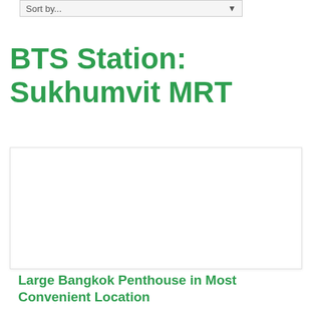Sort by...
BTS Station: Sukhumvit MRT
[Figure (photo): Listing card image placeholder (white/blank area) for a Bangkok penthouse property]
Large Bangkok Penthouse in Most Convenient Location